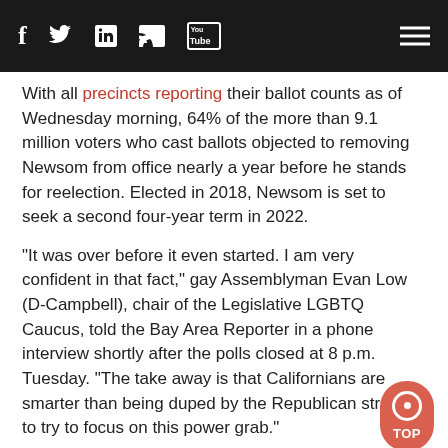Social media icons and navigation header bar
With all precincts reporting their ballot counts as of Wednesday morning, 64% of the more than 9.1 million voters who cast ballots objected to removing Newsom from office nearly a year before he stands for reelection. Elected in 2018, Newsom is set to seek a second four-year term in 2022.
"It was over before it even started. I am very confident in that fact," gay Assemblyman Evan Low (D-Campbell), chair of the Legislative LGBTQ Caucus, told the Bay Area Reporter in a phone interview shortly after the polls closed at 8 p.m. Tuesday. "The take away is that Californians are smarter than being duped by the Republican strategy to try to focus on this power grab."